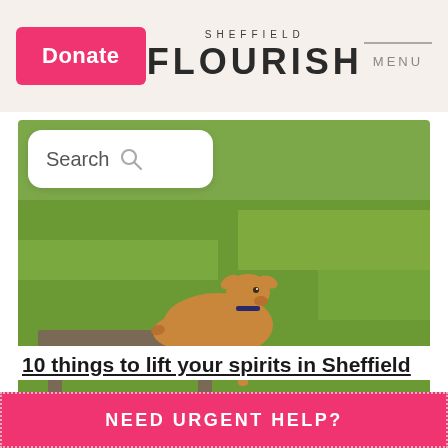Donate | SHEFFIELD FLOURISH | MENU
[Figure (screenshot): Search bar overlay on top of a photo of a brown goat lying on a wooden platform against a green grass background]
10 things to lift your spirits in Sheffield
NEED URGENT HELP?